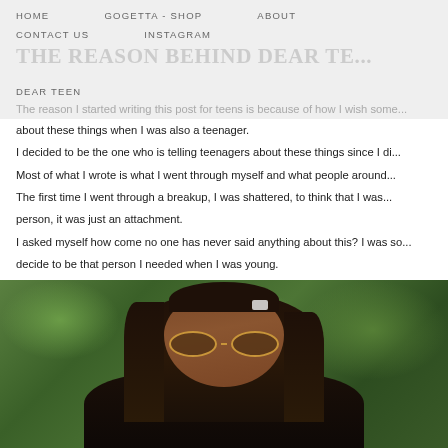HOME    GOGETTA - SHOP    ABOUT
CONTACT US    INSTAGRAM
THE REASON BEHIND DEAR TE...
DEAR TEEN
The reason I started writing this post for teens is because of how I wish some... about these things when I was also a teenager.
I decided to be the one who is telling teenagers about these things since I di... Most of what I wrote is what I went through myself and what people around... The first time I went through a breakup, I was shattered, to think that I was... person, it was just an attachment.
I asked myself how come no one has never said anything about this? I was so... decide to be that person I needed when I was young.
[Figure (photo): Photo of a young woman with long brown hair wearing gold aviator sunglasses, photographed outdoors with green foliage in the background.]